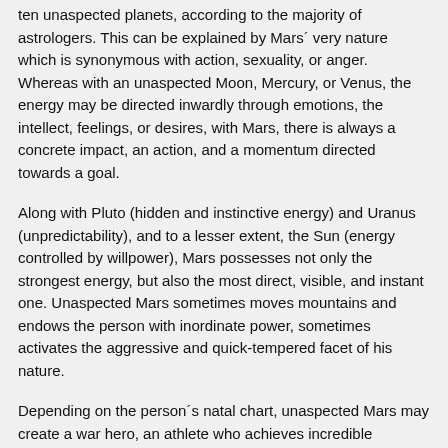ten unaspected planets, according to the majority of astrologers. This can be explained by Mars´ very nature which is synonymous with action, sexuality, or anger. Whereas with an unaspected Moon, Mercury, or Venus, the energy may be directed inwardly through emotions, the intellect, feelings, or desires, with Mars, there is always a concrete impact, an action, and a momentum directed towards a goal.
Along with Pluto (hidden and instinctive energy) and Uranus (unpredictability), and to a lesser extent, the Sun (energy controlled by willpower), Mars possesses not only the strongest energy, but also the most direct, visible, and instant one. Unaspected Mars sometimes moves mountains and endows the person with inordinate power, sometimes activates the aggressive and quick-tempered facet of his nature.
Depending on the person´s natal chart, unaspected Mars may create a war hero, an athlete who achieves incredible exploits, or a quarrelsome, impatient, and chaotic person unable to control himself as soon as this planet is triggered by a hard transit or progression.
It is worth underlining that when Mars is in his home, exaltation, exile, or fall, his unaspected condition has stronger consequences, with a special mention for Mars in Aries, in his home. In such a case, Mars expresses himself without restraint and in fits and starts.